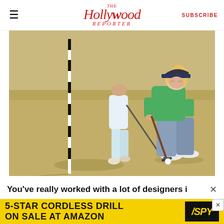THE Hollywood Reporter SUBSCRIBE
[Figure (photo): Two golfers on a putting green. A woman in a green polo shirt, blue patterned pants, and a navy visor is crouching down holding a putter, reading the green. Another golfer in light blue pants and white shoes is walking in the background. A black and white flagstick is visible on the left.]
You've really worked with a lot of designers i
[Figure (other): Advertisement banner: 5-STAR CORDLESS DRILL ON SALE AT AMAZON with SPY logo on yellow background]